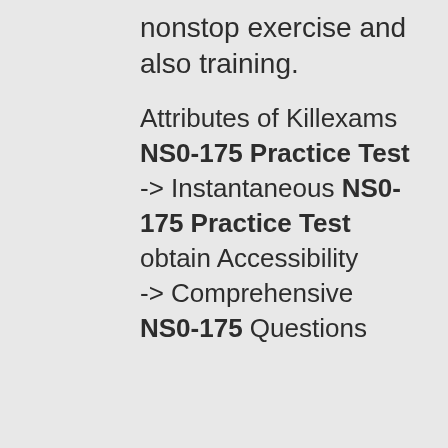nonstop exercise and also training.
Attributes of Killexams NS0-175 Practice Test -> Instantaneous NS0-175 Practice Test obtain Accessibility -> Comprehensive NS0-175 Questions